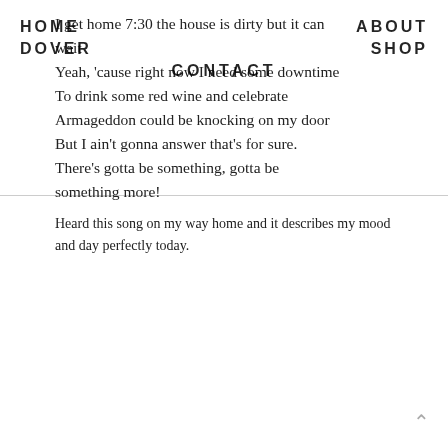I get home 7:30 the house is dirty but it can wait
Yeah, 'cause right now I need some downtime
To drink some red wine and celebrate
Armageddon could be knocking on my door
But I ain't gonna answer that's for sure.
There's gotta be something, gotta be something more!
HOME   ABOUT   DOVER   SHOP   CONTACT
Heard this song on my way home and it describes my mood and day perfectly today.